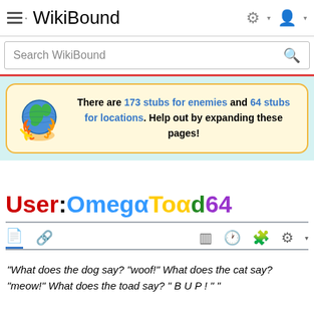WikiBound
Search WikiBound
There are 173 stubs for enemies and 64 stubs for locations. Help out by expanding these pages!
User:OmegaToad64
"What does the dog say? "woof!" What does the cat say? "meow!" What does the toad say? " B U P ! " "